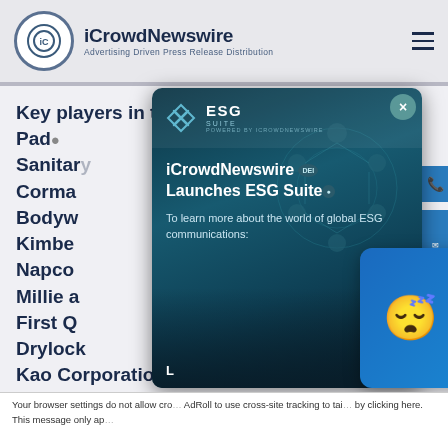iCrowdNewswire — Advertising Driven Press Release Distribution
Key players in the global Sanitary Pads / Sanitary Napkins Market er 12 Corma Bodyw Kimbe Napco Millie a First Q Drylock Kao Corporation
[Figure (screenshot): ESG Suite popup overlay with iCrowdNewswire logo, titled 'iCrowdNewswire Launches ESG Suite', with description 'To learn more about the world of global ESG communications:' and a close button]
[Figure (screenshot): Chat widget showing offline status with sleeping emoji and 'We're offline — Leave a message' text]
Your browser settings do not allow cro... AdRoll to use cross-site tracking to tai... by clicking here. This message only ap...